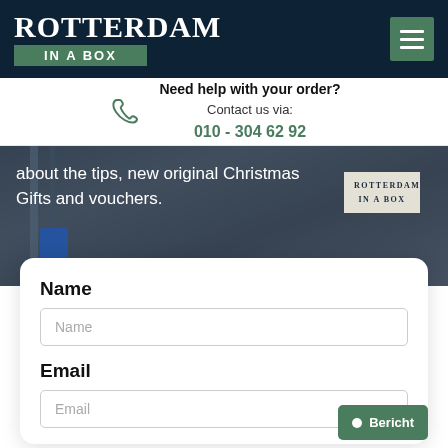ROTTERDAM IN A BOX
Need help with your order? Contact us via: 010 - 304 62 92
[Figure (screenshot): Hero image of Rotterdam in a Box product with text overlay: about the tips, new original Christmas Gifts and vouchers.]
Name
Name (input placeholder)
Email
Email (input placeholder)
Bericht